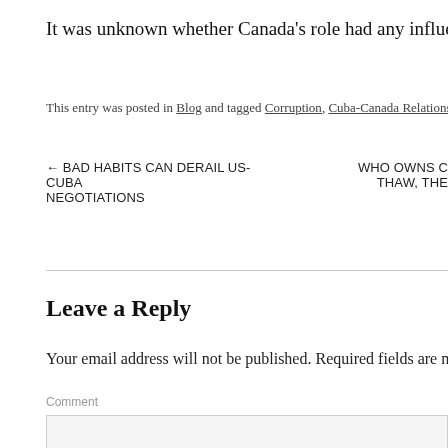It was unknown whether Canada’s role had any influence on Tokm
This entry was posted in Blog and tagged Corruption, Cuba-Canada Relations, Foreign I
← BAD HABITS CAN DERAIL US-CUBA NEGOTIATIONS
WHO OWNS C THAW, THE
Leave a Reply
Your email address will not be published. Required fields are mark
Comment